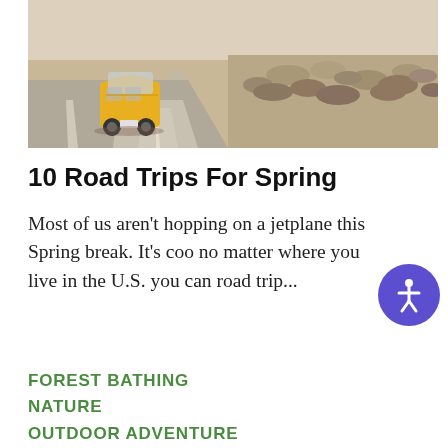[Figure (photo): A yellow van driving away on a desert road with dry brush and scrubland on the right side; road stretching into the distance.]
10 Road Trips For Spring
Most of us aren't hopping on a jetplane this Spring break. It's coo no matter where you live in the U.S. you can road trip...
FOREST BATHING
NATURE
OUTDOOR ADVENTURE